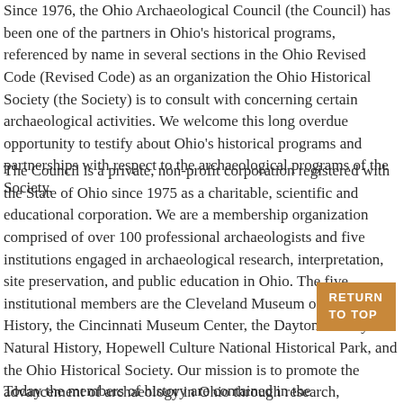Since 1976, the Ohio Archaeological Council (the Council) has been one of the partners in Ohio's historical programs, referenced by name in several sections in the Ohio Revised Code (Revised Code) as an organization the Ohio Historical Society (the Society) is to consult with concerning certain archaeological activities. We welcome this long overdue opportunity to testify about Ohio's historical programs and partnerships with respect to the archaeological programs of the Society.
The Council is a private, non-profit corporation registered with the State of Ohio since 1975 as a charitable, scientific and educational corporation. We are a membership organization comprised of over 100 professional archaeologists and five institutions engaged in archaeological research, interpretation, site preservation, and public education in Ohio. The five institutional members are the Cleveland Museum of Natural History, the Cincinnati Museum Center, the Dayton Society of Natural History, Hopewell Culture National Historical Park, and the Ohio Historical Society. Our mission is to promote the advancement of archaeology in Ohio through research, publication and education.
Today the members of history are contained in the...